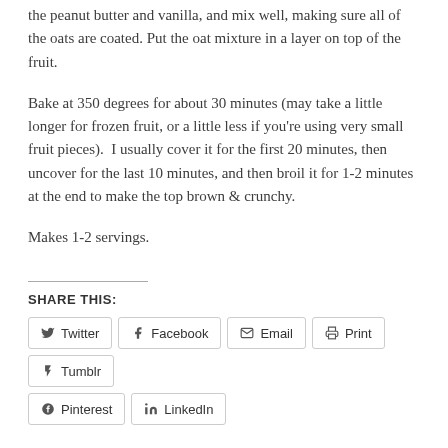the peanut butter and vanilla, and mix well, making sure all of the oats are coated. Put the oat mixture in a layer on top of the fruit.
Bake at 350 degrees for about 30 minutes (may take a little longer for frozen fruit, or a little less if you're using very small fruit pieces).  I usually cover it for the first 20 minutes, then uncover for the last 10 minutes, and then broil it for 1-2 minutes at the end to make the top brown & crunchy.
Makes 1-2 servings.
Share this:
Twitter | Facebook | Email | Print | Tumblr | Pinterest | LinkedIn